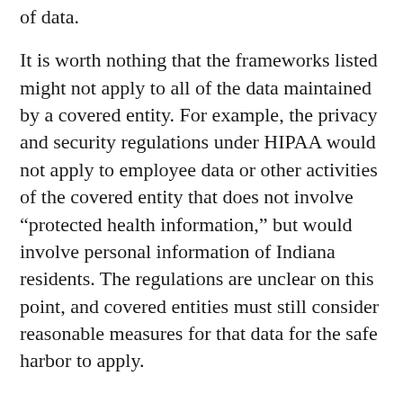of data.
It is worth nothing that the frameworks listed might not apply to all of the data maintained by a covered entity. For example, the privacy and security regulations under HIPAA would not apply to employee data or other activities of the covered entity that does not involve “protected health information,” but would involve personal information of Indiana residents. The regulations are unclear on this point, and covered entities must still consider reasonable measures for that data for the safe harbor to apply.
Tags: Attorney General, Attorney General Curtis Hill, CAP, corrective action plan, cybersecurity, data breach, data security plan, Hoosiers, Indiana, NIST, reasonable measures, safe harbor